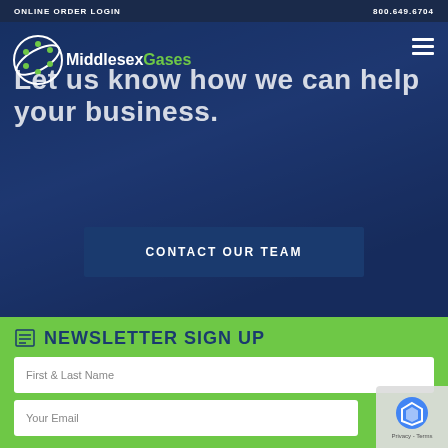ONLINE ORDER LOGIN   800.649.6704
[Figure (logo): Middlesex Gases logo with DNA helix icon in green and white, company name Middlesex Gases]
Let us know how we can help your business.
CONTACT OUR TEAM
NEWSLETTER SIGN UP
First & Last Name
Your Email